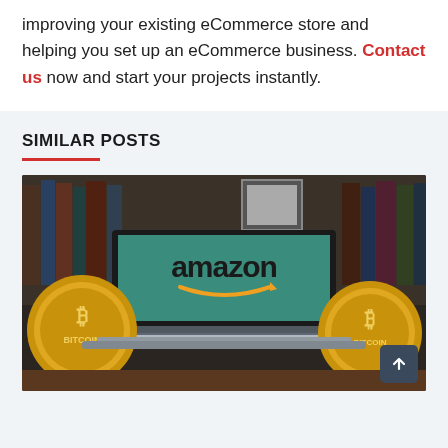improving your existing eCommerce store and helping you set up an eCommerce business. Contact us now and start your projects instantly.
SIMILAR POSTS
[Figure (photo): A laptop displaying the Amazon logo on a teal/green screen, flanked by two gold Bitcoin coins, placed on a desk with bookshelves in the background.]